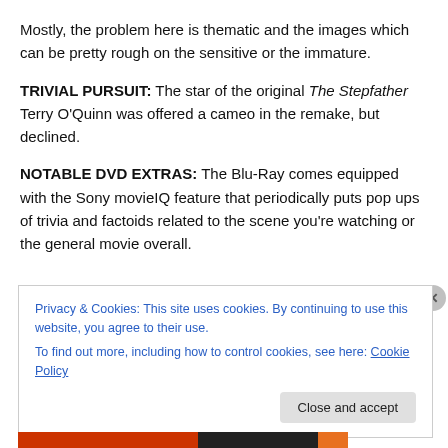Mostly, the problem here is thematic and the images which can be pretty rough on the sensitive or the immature.
TRIVIAL PURSUIT: The star of the original The Stepfather Terry O'Quinn was offered a cameo in the remake, but declined.
NOTABLE DVD EXTRAS: The Blu-Ray comes equipped with the Sony movieIQ feature that periodically puts pop ups of trivia and factoids related to the scene you're watching or the general movie overall.
Privacy & Cookies: This site uses cookies. By continuing to use this website, you agree to their use. To find out more, including how to control cookies, see here: Cookie Policy
Close and accept